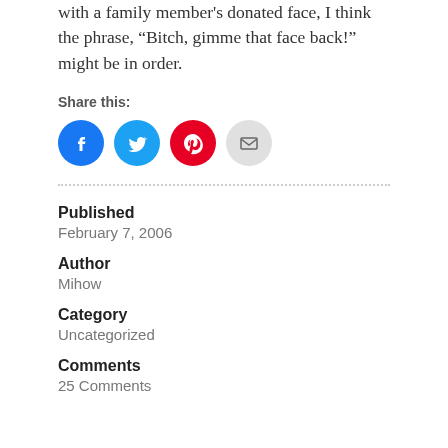with a family member's donated face, I think the phrase, “Bitch, gimme that face back!” might be in order.
Share this:
[Figure (infographic): Four social share icon buttons: Facebook (blue), Twitter (cyan), Pinterest (red), Email (light gray)]
Published
February 7, 2006
Author
Mihow
Category
Uncategorized
Comments
25 Comments